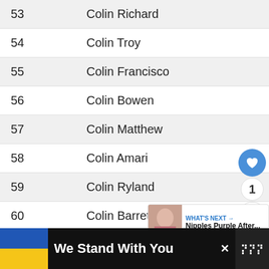| # | Name |
| --- | --- |
| 53 | Colin Richard |
| 54 | Colin Troy |
| 55 | Colin Francisco |
| 56 | Colin Bowen |
| 57 | Colin Matthew |
| 58 | Colin Amari |
| 59 | Colin Ryland |
| 60 | Colin Barrett |
[Figure (screenshot): UI buttons: heart/like button (blue circle), count badge showing 1, share button (circle with share icon)]
[Figure (screenshot): What's Next panel showing thumbnail and text 'Nipples Purple After...']
We Stand With You